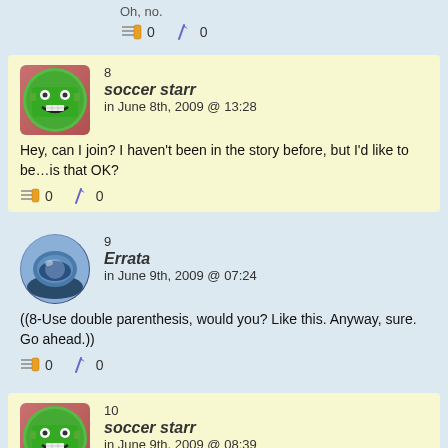0  0
8
soccer starr
in June 8th, 2009 @ 13:28
Hey, can I join? I haven't been in the story before, but I'd like to be…is that OK?
0  0
9
Errata
in June 9th, 2009 @ 07:24
((8-Use double parenthesis, would you? Like this. Anyway, sure. Go ahead.))
0  0
10
soccer starr
in June 9th, 2009 @ 08:39
((Ok…so, here it goes. Please let me know if this doesn't go along with the story